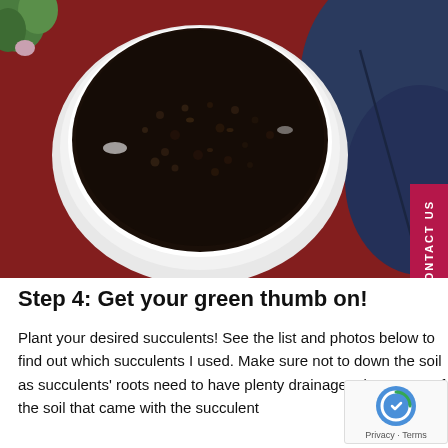[Figure (photo): Overhead view of a white bowl filled with dark potting soil/substrate, placed on a dark red/maroon textured surface. In the upper left corner, a small green succulent plant is partially visible. In the upper right corner, a dark navy blue cushion/pillow is partially visible.]
Step 4: Get your green thumb on!
Plant your desired succulents! See the list and photos below to find out which succulents I used. Make sure not to down the soil as succulents' roots need to have plenty drainage. I kept most of the soil that came with the succulent